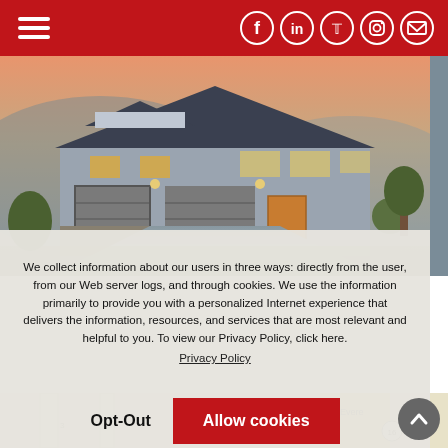Navigation header with hamburger menu and social icons (Facebook, LinkedIn, Twitter, Instagram, Email)
[Figure (photo): Two-story suburban house with gray siding, dark roof, double garage, and warm interior lights at dusk/sunset]
We collect information about our users in three ways: directly from the user, from our Web server logs, and through cookies. We use the information primarily to provide you with a personalized Internet experience that delivers the information, resources, and services that are most relevant and helpful to you. To view our Privacy Policy, click here.
Privacy Policy
Opt-Out
Allow cookies
[Figure (map): Street map showing intersection area with road labels and route marker 16]